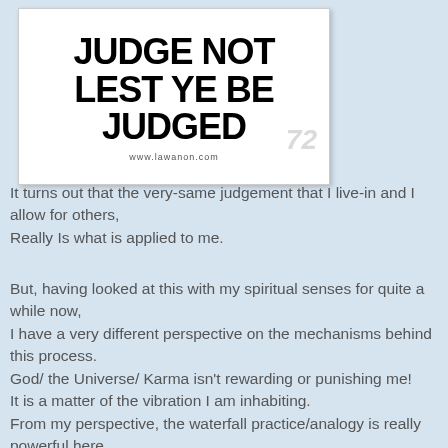[Figure (illustration): White card/poster with bold black text reading 'JUDGE NOT LEST YE BE JUDGED' and website www.lawanon.com at bottom. A faint watermark number visible on the right side.]
It turns out that the very-same judgement that I live-in and I allow for others,
Really Is what is applied to me.
But, having looked at this with my spiritual senses for quite a while now,
I have a very different perspective on the mechanisms behind this process.
God/ the Universe/ Karma isn't rewarding or punishing me!
It is a matter of the vibration I am inhabiting.
From my perspective, the waterfall practice/analogy is really powerful here.